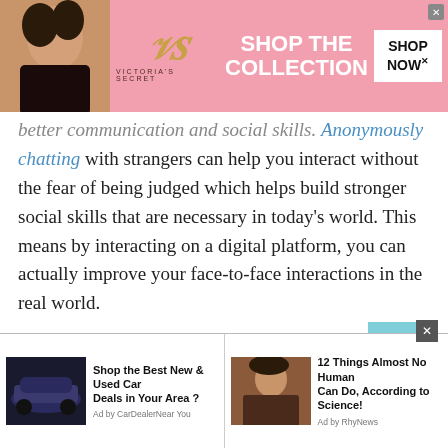[Figure (screenshot): Victoria's Secret advertisement banner with model photo, VS logo, 'SHOP THE COLLECTION' text, and 'SHOP NOW' button]
better communication and social skills. Anonymously chatting with strangers can help you interact without the fear of being judged which helps build stronger social skills that are necessary in today's world. This means by interacting on a digital platform, you can actually improve your face-to-face interactions in the real world.
Bruneian Talk to strangers via audio calls : A Way to Combat Loneliness
In these uncertain times where every day we lose a loved
[Figure (screenshot): Bottom advertisement bar with two ad items: 'Shop the Best New & Used Car Deals in Your Area?' by CarDealearNear You, and '12 Things Almost No Human Can Do, According to Science!' by RhyNews]